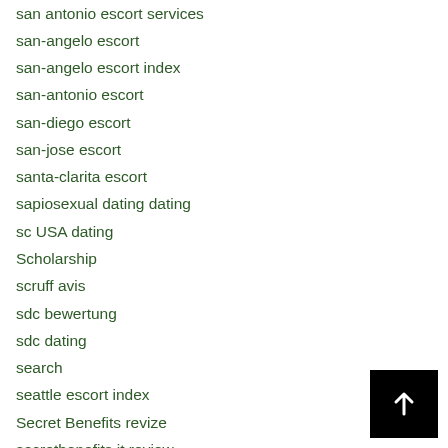san antonio escort services
san-angelo escort
san-angelo escort index
san-antonio escort
san-diego escort
san-jose escort
santa-clarita escort
sapiosexual dating dating
sc USA dating
Scholarship
scruff avis
sdc bewertung
sdc dating
search
seattle escort index
Secret Benefits revize
secretbenefits it review
secretpartnersuche.de app
Senior Dating Sites site
Senior Match dating